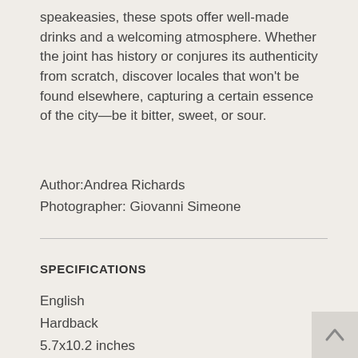speakeasies, these spots offer well-made drinks and a welcoming atmosphere. Whether the joint has history or conjures its authenticity from scratch, discover locales that won't be found elsewhere, capturing a certain essence of the city—be it bitter, sweet, or sour.
Author:Andrea Richards
Photographer: Giovanni Simeone
SPECIFICATIONS
English
Hardback
5.7x10.2 inches
240 pages
I Edition 2017